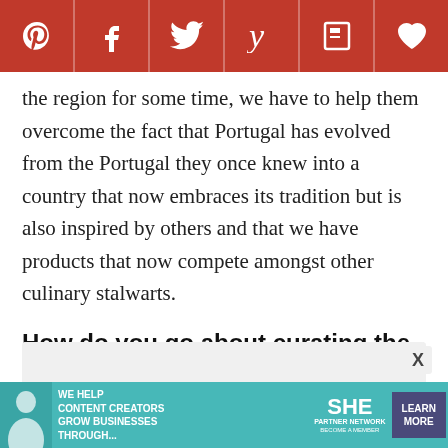[Figure (other): Social sharing bar with Pinterest, Facebook, Twitter, Yummly, Flipboard, and heart/save icons on a dark red background]
the region for some time, we have to help them overcome the fact that Portugal has evolved from the Portugal they once knew into a country that now embraces its tradition but is also inspired by others and that we have products that now compete amongst other culinary stalwarts.
How do you go about curating the Portuguese items you sell? How often do you go to Portugal?
[Figure (photo): Partial image placeholder area, light gray background, with a circular metallic ring object visible at bottom right]
[Figure (infographic): Advertisement banner: SHE Media Partner Network - We help content creators grow businesses through... Learn More button]